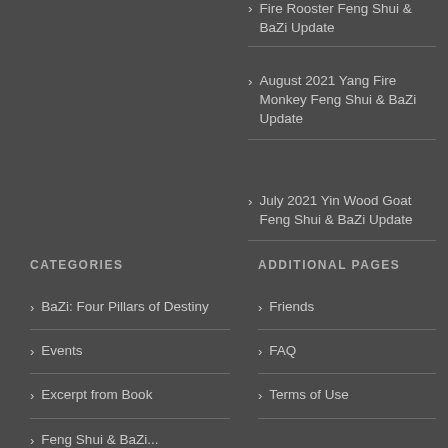Fire Rooster Feng Shui & BaZi Update
August 2021 Yang Fire Monkey Feng Shui & BaZi Update
July 2021 Yin Wood Goat Feng Shui & BaZi Update
CATEGORIES
ADDITIONAL PAGES
BaZi: Four Pillars of Destiny
Friends
Events
FAQ
Excerpt from Book
Terms of Use
Feng Shui & BaZi...